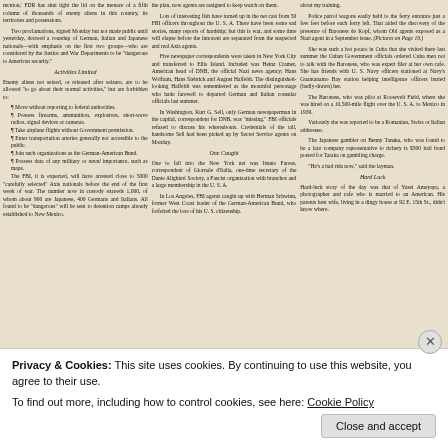mcnion,' FDR has shut tight the lid on the menace of a fifth column of thousands of enemy aliens in this country, its territories and possessions. Two proclamations, signed Monday but not made public until yesterday, decreed a roundup of German, Italian and Japanese nationals—with emphasis on the first two groups—who are considered by the Justice and War Departments to be 'dangerous to American security.'
Activities Limited
Enemy aliens not seized, or released after seizure, are to be allowed 'to go about their normal activities,' but are forbidden to:
Move without reporting to federal authorities.
Possess firearms, ammunition, explosives, short-wave radios, signal devices or cameras.
Take airplane flights without Government permission.
Enter transportation arteries generally not accessible to the public.
Join such organizations as the German-American Bund.
Possess data of any military or naval importance, such as maps.
The FBI, it is expected, will have arrested close to 5000 'carefully selected' Axis nationals before the end of the first week of war. The number now in custody exceeds 1,000, of whom about 900 are Japanese, 400 Germans and Italians. All found to be 'dangerous' will be sent to detention camps already established to New Mexico.
the plan, now agents are assigned to keep watch on them. Lots of interesting fish have turned up in the net cast from 50 FBI officers throughout the U. S. A. There have been some sad stories, many reports of hardship; but this is war, and some time will elapse before the innocent are separated from the suspected and real Axis agents. Five newspaper correspondents were taken in New York City and transferred to Ellis Island. Included was Heinz Cramer, American head of DNB, the official Nazi news agency; Hans Wolfram, Hans Siebrick and August Halfeldt. The distinguished-looking Halfeldt was remembered as the mournful personage who hade farewell to departed German and Italian consular officials last summer. In Washington, Kurt G. Sell, only German newspaperman in the capital, correspondent for DNB, was 'missing.' FBI officials refused to discuss his whereabouts. Credentials of the tall, handsome Sell had been picked up by Secret Service agents on Monday.
One Caught
One to fall into the New York net was Itsuno Farese, correspondent of Giornale d'Italia, one-time secretary of the Dante Alighieri Society, a Fascist organization with branches and a large membership in the U. S. A. In Los Angeles, FBI agents caught up with Herman Schwinn, former West Coast leader of the German-American Bund, who forfeited the loss of his U. S. citizenship.
about my training. Police patrol wagons easily held to the ferry entrance just a few feet before each ferry left. That aided the discovery of the presence of Baroness de Kopf, whom Old agents exposed as a Nazi agent in a September issue. (Pictures on Page 19.) She was such a hot potato in Cuba that she visited there last summer the Cuban Government officials ordered Cuba men not to talk with the Baroness, who was expert filer at her own cafe. She has friends with U. S. Navy officers stationed at Navy's Guantanamo Bay station helping intelligence officers buried (badly-drawn) her. The Baroness, who was pilot at Roosevelt Field, where she was hired on a 10,500-mile flight over the U. S. A. to Mexico in 1939. Variously she was reported to be a Romanian, Swiss or Italian addressee. The Japanese gambler on Benny Tanaka, who was found to be a lace company representative to richery is $500 bail bond posted for Taraka on gambling charge. 'He's a bad risk now,' said the layman.
Hard Luck
Hard-luck story of the day was that of Yusei Ameyaya, a photographer and cafe who is married to an American. His parents best wife, living in a dingy house at at 92 E. 15th St., didn't know where.
Privacy & Cookies: This site uses cookies. By continuing to use this website, you agree to their use. To find out more, including how to control cookies, see here: Cookie Policy
Close and accept